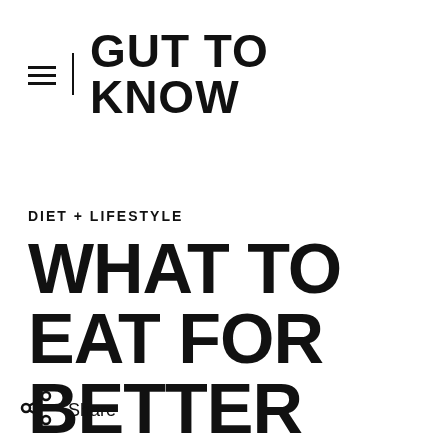GUT TO KNOW
DIET + LIFESTYLE
WHAT TO EAT FOR BETTER DIGESTION
Share